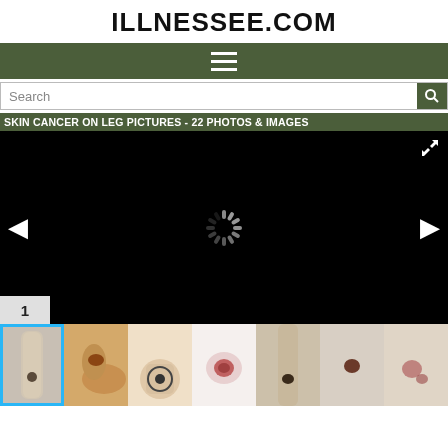ILLNESSEE.COM
[Figure (screenshot): Navigation bar with hamburger menu icon on dark olive green background]
[Figure (screenshot): Search bar with magnifying glass button]
SKIN CANCER ON LEG PICTURES - 22 PHOTOS & IMAGES
[Figure (photo): Main image viewer with black background, loading spinner, left/right navigation arrows, expand button, and page number 1]
[Figure (photo): Thumbnail strip showing 7 skin cancer on leg images]